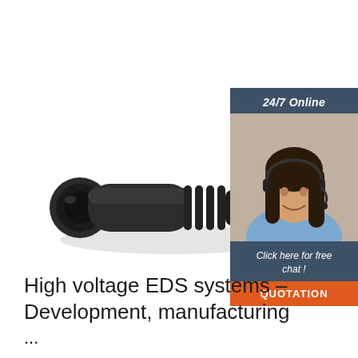[Figure (photo): Black industrial waterproof electrical connector with cylindrical body, rubber strain relief, and 3-pin male plug head, shown at an angle on white background]
[Figure (infographic): Chat widget with dark blue header '24/7 Online', photo of female customer service agent with headset smiling, dark blue footer text 'Click here for free chat !', and orange 'QUOTATION' button]
High voltage EDS systems – Development, manufacturing ...